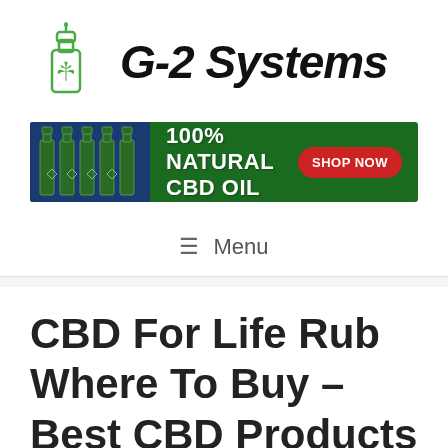[Figure (logo): G-2 Systems logo with CBD oil dropper bottle icon (green outline) and cannabis leaf, next to cursive text 'G-2 Systems']
[Figure (infographic): Green and blue banner advertisement reading '100% NATURAL CBD OIL' with 'SHOP NOW' red button and CBD oil bottles on the left side]
≡ Menu
CBD For Life Rub Where To Buy – Best CBD Products